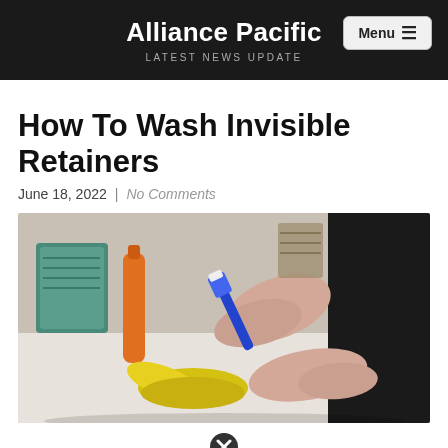Alliance Pacific
LATEST NEWS UPDATE
How To Wash Invisible Retainers
June 18, 2022 | No Comments
[Figure (photo): A person holding a blue toothbrush and a clear dental retainer over a bathroom counter with a yellow retainer case open in the foreground, and personal care items in the background.]
[Figure (other): Close button (X in a circle) at the bottom center of the page]